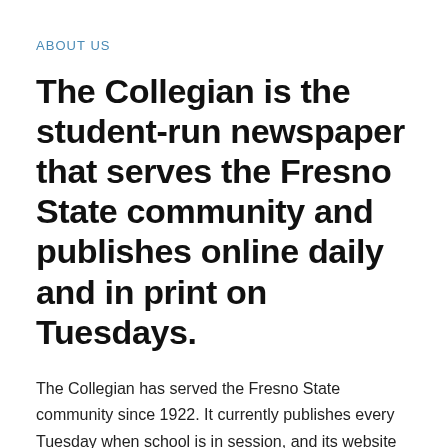ABOUT US
The Collegian is the student-run newspaper that serves the Fresno State community and publishes online daily and in print on Tuesdays.
The Collegian has served the Fresno State community since 1922. It currently publishes every Tuesday when school is in session, and its website is updated continuously throughout the year. The Collegian is run by students, who write and edit all the stories, and take all the videos and photos. It is funded by advertisements and a